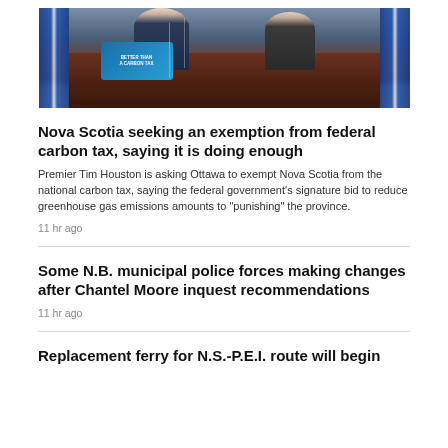[Figure (photo): Photo of politicians at a podium with a sign reading 'BETTER THAN A CARBON TAX', flanked by blue and white flags, two men in suits visible]
Nova Scotia seeking an exemption from federal carbon tax, saying it is doing enough
Premier Tim Houston is asking Ottawa to exempt Nova Scotia from the national carbon tax, saying the federal government's signature bid to reduce greenhouse gas emissions amounts to "punishing" the province.
11 hr ago
Some N.B. municipal police forces making changes after Chantel Moore inquest recommendations
11 hr ago
Replacement ferry for N.S.-P.E.I. route will begin